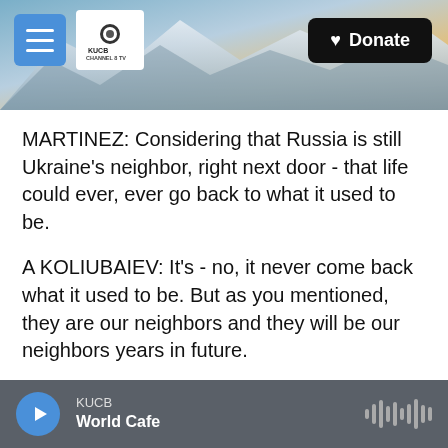[Figure (screenshot): Website header with mountain/snow landscape background, hamburger menu button on left, KUCB Channel 8 TV logo, and black Donate button with heart on right]
MARTINEZ: Considering that Russia is still Ukraine's neighbor, right next door - that life could ever, ever go back to what it used to be.
A KOLIUBAIEV: It's - no, it never come back what it used to be. But as you mentioned, they are our neighbors and they will be our neighbors years in future.
ERIKA: Yeah, we can't do anything.
A KOLIUBAIEV: You know, when I go sleep now in Ukraine, I'm hearing alarms. And it's OK for now
KUCB World Cafe